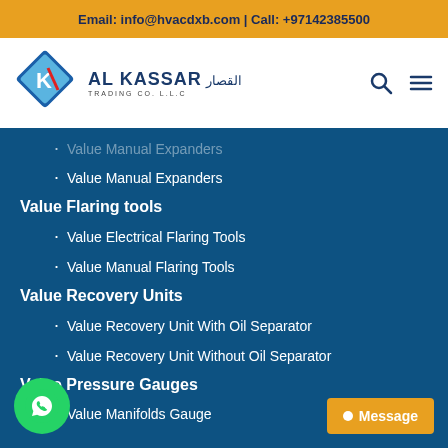Email: info@hvacdxb.com | Call: +97142385500
[Figure (logo): Al Kassar Trading Co. L.L.C logo with diamond K shape and Arabic text]
Value Manual Expanders
Value Flaring tools
Value Electrical Flaring Tools
Value Manual Flaring Tools
Value Recovery Units
Value Recovery Unit With Oil Separator
Value Recovery Unit Without Oil Separator
Value Pressure Gauges
Value Manifolds Gauge